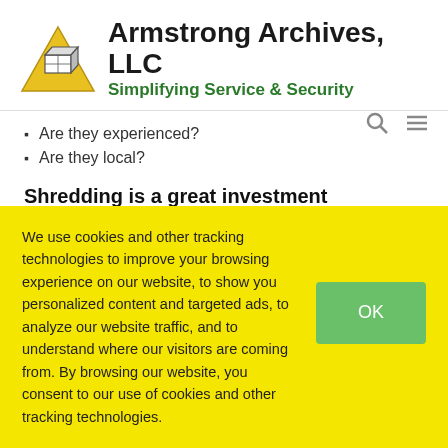[Figure (logo): Armstrong Archives LLC logo with yellow triangle and box icon, company name in bold dark text, tagline 'Simplifying Service & Security' in green bold text]
Are they experienced?
Are they local?
Shredding is a great investment
We use cookies and other tracking technologies to improve your browsing experience on our website, to show you personalized content and targeted ads, to analyze our website traffic, and to understand where our visitors are coming from. By browsing our website, you consent to our use of cookies and other tracking technologies.